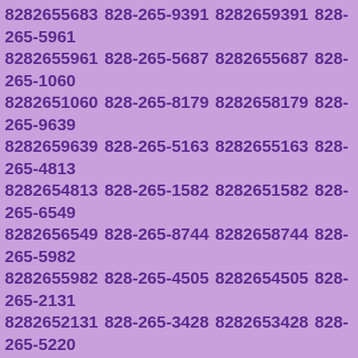8282655683 828-265-9391 8282659391 828-265-5961 8282655961 828-265-5687 8282655687 828-265-1060 8282651060 828-265-8179 8282658179 828-265-9639 8282659639 828-265-5163 8282655163 828-265-4813 8282654813 828-265-1582 8282651582 828-265-6549 8282656549 828-265-8744 8282658744 828-265-5982 8282655982 828-265-4505 8282654505 828-265-2131 8282652131 828-265-3428 8282653428 828-265-5220 8282655220 828-265-0193 8282650193 828-265-0899 8282650899 828-265-6858 8282656858 828-265-4640 8282654640 828-265-0252 8282650252 828-265-3671 8282653671 828-265-2930 8282652930 828-265-7191 8282657191 828-265-3888 8282653888 828-265-6002 8282656002 828-265-9750 8282659750 828-265-2948 8282652948 828-265-2070 8282652070 828-265-9064 8282659064 828-265-3538 8282653538 828-265-3002 8282653002 828-265-2689 8282652689 828-265-1771 8282651771 828-265-8877 8282658877 828-265-9743 8282659743 828-265-2308 8282652308 828-265-2455 8282652455 828-265-8743 8282658743 828-265-3478 8282653478 828-265-5551 8282655551 828-265-9801